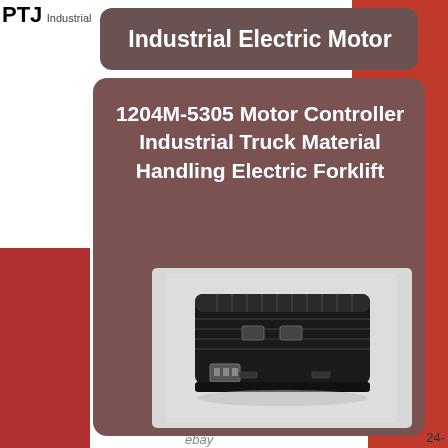PTJ Industrial
Industrial Electric Motor
1204M-5305 Motor Controller Industrial Truck Material Handling Electric Forklift
[Figure (photo): Black rectangular motor controller unit (1204M-5305) with ribbed top surface and connector ports, shown on white background. Product photo from eBay listing.]
ebay
24-